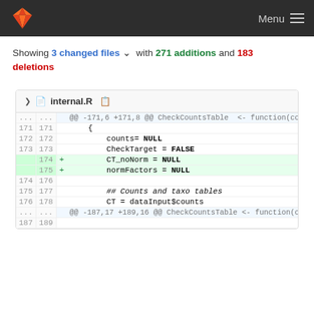Menu
Showing 3 changed files with 271 additions and 183 deletions
[Figure (screenshot): GitLab diff view of internal.R showing added lines 174-175 with CT_noNorm = NULL and normFactors = NULL]
internal.R